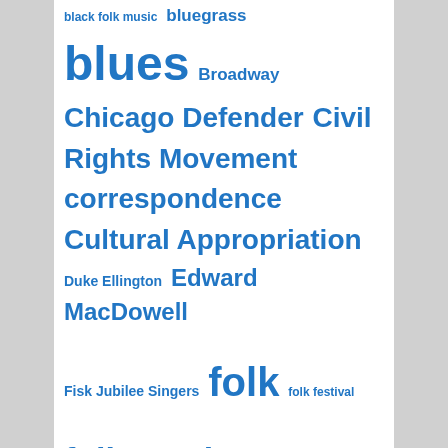[Figure (infographic): A tag cloud of topics related to American music history, displayed in varying font sizes indicating frequency/importance. All terms are in blue. Topics include: black folk music, bluegrass, blues, Broadway, Chicago Defender, Civil Rights Movement, correspondence, Cultural Appropriation, Duke Ellington, Edward MacDowell, Fisk Jubilee Singers, folk, folk festival, folk music, Folk Revival, George Gershwin, jazz, John Lomax, Library of Congress, Manitou Messenger, Minstrel, Minstrelsy, music, Native American, Native American Music, Negro Spirituals, Piano, Ragtime, sheet music, Slave Songs, spirituals, St. Olaf College, Transcription, W.C. Handy, women, Woody Guthrie]